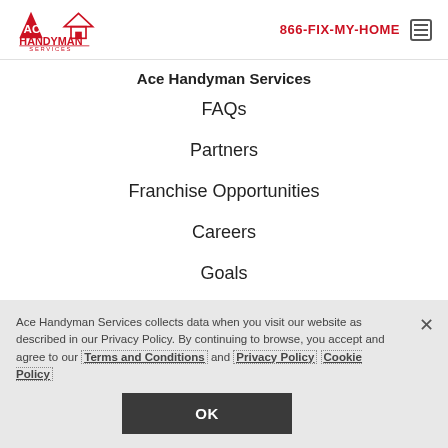Ace Handyman Services | 866-FIX-MY-HOME
Ace Handyman Services
FAQs
Partners
Franchise Opportunities
Careers
Goals
Ace Handyman Services collects data when you visit our website as described in our Privacy Policy. By continuing to browse, you accept and agree to our Terms and Conditions and Privacy Policy Cookie Policy
OK